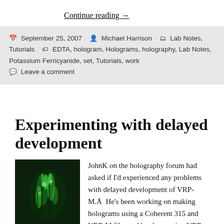Continue reading →
September 25, 2007   Michael Harrison   Lab Notes, Tutorials   EDTA, hologram, Holograms, holography, Lab Notes, Potassium Ferricyanide, set, Tutorials, work   Leave a comment
Experimenting with delayed development
[Figure (photo): Green glowing holographic image, dark background with green light patterns]
JohnK on the holography forum had asked if I'd experienced any problems with delayed development of VRP-M.  He's been working on making holograms using a Coherent 315 and VRP-M film and has been using VRP-M composition to